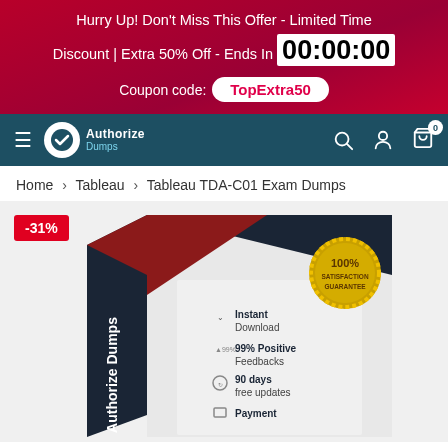Hurry Up! Don't Miss This Offer - Limited Time Discount | Extra 50% Off - Ends In 00:00:00 Coupon code: TopExtra50
[Figure (logo): AuthorizeDumps logo with checkmark in circle and teal navigation bar with hamburger menu, search, user, and cart icons]
Home > Tableau > Tableau TDA-C01 Exam Dumps
[Figure (photo): Product box for Tableau TDA-C01 Exam Dumps showing -31% discount badge, with features: Instant Download, 99% Positive Feedbacks, 90 days free updates, Payment. Box has dark navy/red design with 100% Satisfaction Guarantee gold seal.]